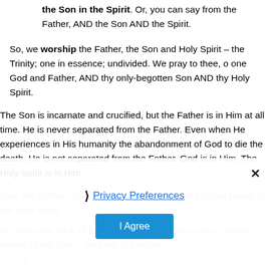the Son in the Spirit. Or, you can say from the Father, AND the Son AND the Spirit.
So, we worship the Father, the Son and Holy Spirit – the Trinity; one in essence; undivided. We pray to thee, o one God and Father, AND thy only-begotten Son AND thy Holy Spirit.
The Son is incarnate and crucified, but the Father is in Him at all time. He is never separated from the Father. Even when He experiences in His humanity the abandonment of God to die the death, He is not separated from the Father. God is in Him. The Holy Spirit is in Him.
God, the Father, is raising the dead through Him by the power of the Holy Spirit.
So, when we think of the one Spirit and Father, who is never devoid of His Son... we think of the one divinity.
[Figure (screenshot): Cookie consent overlay with Privacy Preferences link and I Agree button, and an X close button]